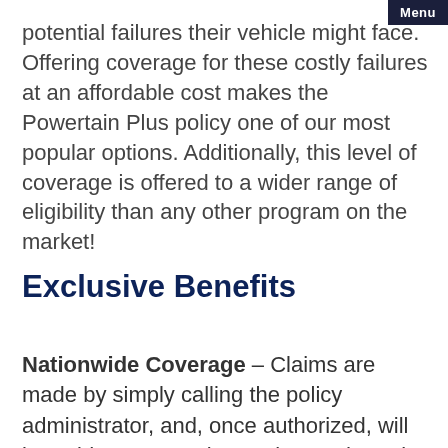potential failures their vehicle might face. Offering coverage for these costly failures at an affordable cost makes the Powertain Plus policy one of our most popular options. Additionally, this level of coverage is offered to a wider range of eligibility than any other program on the market!
Exclusive Benefits
Nationwide Coverage – Claims are made by simply calling the policy administrator, and, once authorized, will be paid to any Dealer or Licensed repair facility in the Continental United States and Canada via Corporate Credit Card.